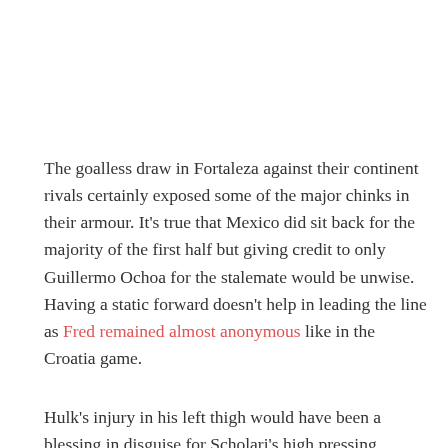The goalless draw in Fortaleza against their continent rivals certainly exposed some of the major chinks in their armour. It's true that Mexico did sit back for the majority of the first half but giving credit to only Guillermo Ochoa for the stalemate would be unwise.  Having a static forward doesn't help in leading the line as Fred remained almost anonymous like in the Croatia game.
Hulk's injury in his left thigh would have been a blessing in disguise for Scholari's high pressing system with Ramires pulling the strings with his immense work rate on the right. The Chelsea midfielder's speed an touch also helped Oscar